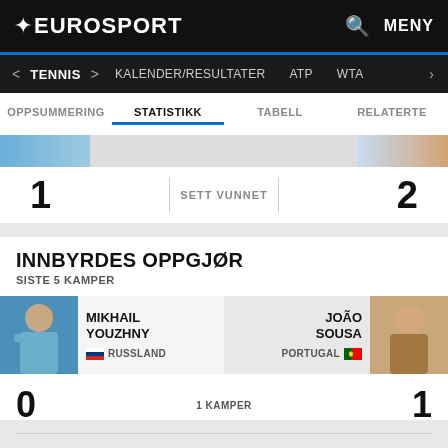EUROSPORT
TENNIS > | KALENDER/RESULTATER | ATP | WTA
OPPSUMMERING | STATISTIKK | TABELL | RELATERTE
|  | SETT VUNNET |  |
| --- | --- | --- |
| 1 | SETT VUNNET | 2 |
INNBYRDES OPPGJØR
SISTE 5 KAMPER
MIKHAIL YOUZHNY — RUSSLAND | JOÃO SOUSA — PORTUGAL
| SEIERE | 1 KAMPER | SEIERE |
| --- | --- | --- |
| 0 | 1 KAMPER | 1 |